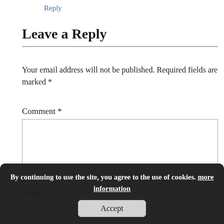Reply
Leave a Reply
Your email address will not be published. Required fields are marked *
Comment *
By continuing to use the site, you agree to the use of cookies. more information
Accept
Name *